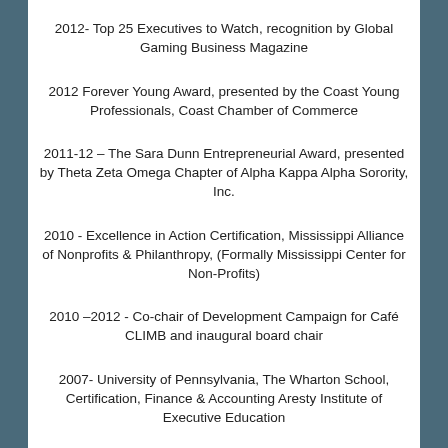2012- Top 25 Executives to Watch, recognition by Global Gaming Business Magazine
2012 Forever Young Award, presented by the Coast Young Professionals, Coast Chamber of Commerce
2011-12 – The Sara Dunn Entrepreneurial Award, presented by Theta Zeta Omega Chapter of Alpha Kappa Alpha Sorority, Inc.
2010 - Excellence in Action Certification, Mississippi Alliance of Nonprofits & Philanthropy, (Formally Mississippi Center for Non-Profits)
2010 –2012 - Co-chair of Development Campaign for Café CLIMB and inaugural board chair
2007- University of Pennsylvania, The Wharton School, Certification, Finance & Accounting Aresty Institute of Executive Education